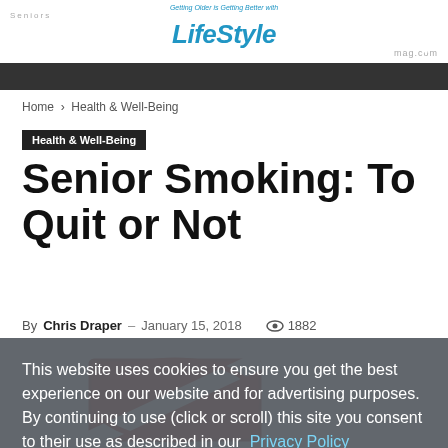Seniors LifeStyle mag.com — Getting Older is Getting Better with Seniors LifeStyle mag.com
Home › Health & Well-Being
Health & Well-Being
Senior Smoking: To Quit or Not
By Chris Draper – January 15, 2018 · 1882 views
This website uses cookies to ensure you get the best experience on our website and for advertising purposes. By continuing to use (click or scroll) this site you consent to their use as described in our Privacy Policy
[Figure (illustration): Partial no-smoking sign illustration in red and white at the bottom of the page]